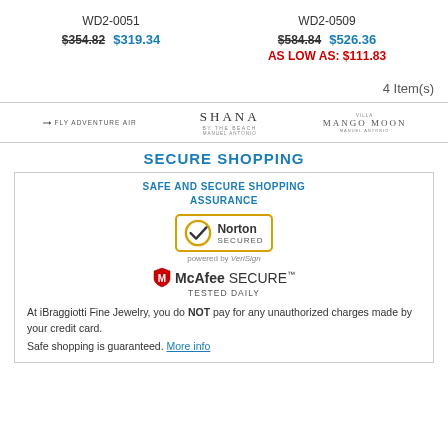WD2-0051
$354.82  $319.34
WD2-0509
$584.84  $526.36
AS LOW AS: $111.83
4 Item(s)
FLY ADVENTURE AIR | SHANA BY THE BEACH | MANGO MOON
SECURE SHOPPING
SAFE AND SECURE SHOPPING ASSURANCE
[Figure (logo): Norton Secured powered by VeriSign badge with gold circle and checkmark]
powered by VeriSign
[Figure (logo): McAfee SECURE TESTED DAILY badge with shield icon]
At iBraggiotti Fine Jewelry, you do NOT pay for any unauthorized charges made by your credit card.
Safe shopping is guaranteed. More info